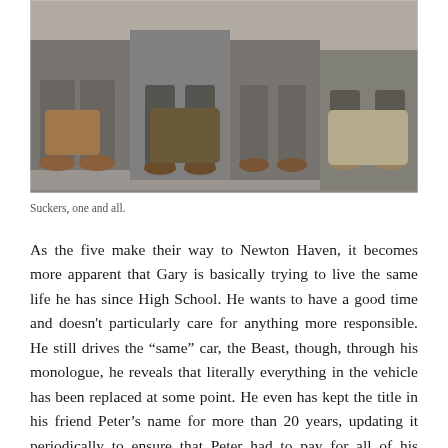[Figure (photo): Several men sitting on outdoor steps with bags and luggage, photographed from waist down showing legs, shoes, and bags.]
Suckers, one and all.
As the five make their way to Newton Haven, it becomes more apparent that Gary is basically trying to live the same life he has since High School. He wants to have a good time and doesn't particularly care for anything more responsible. He still drives the “same” car, the Beast, though, through his monologue, he reveals that literally everything in the vehicle has been replaced at some point. He even has kept the title in his friend Peter’s name for more than 20 years, updating it periodically to ensure that Peter had to pay for all of his tickets. Gary also is apparently doing some form of drugs, as